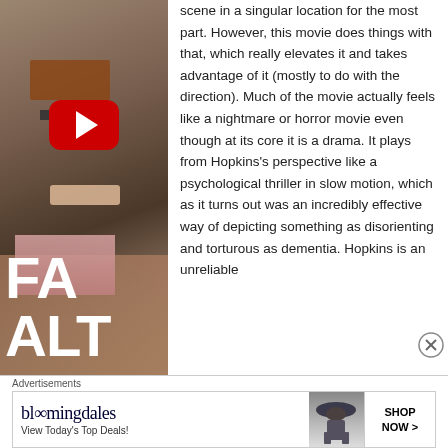[Figure (screenshot): YouTube video thumbnail for a movie (showing 'FA' and 'ALT' text overlay) with a YouTube play button. Shows a room interior scene with a person's hand holding a remote.]
scene in a singular location for the most part. However, this movie does things with that, which really elevates it and takes advantage of it (mostly to do with the direction). Much of the movie actually feels like a nightmare or horror movie even though at its core it is a drama. It plays from Hopkins's perspective like a psychological thriller in slow motion, which as it turns out was an incredibly effective way of depicting something as disorienting and torturous as dementia. Hopkins is an unreliable
[Figure (other): Close button (X in circle) UI element]
Advertisements
[Figure (other): Bloomingdale's advertisement banner with logo, 'View Today's Top Deals!' text, woman with hat, and 'SHOP NOW >' button]